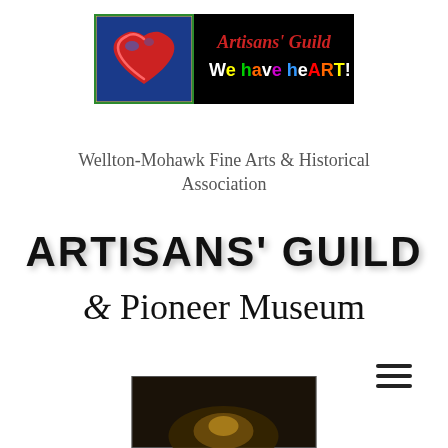[Figure (logo): Artisans' Guild banner logo: colorful heart painting on blue/green background on left, black background with text 'Artisans' Guild' in red and 'We have heART!' in multicolored letters on right]
Wellton-Mohawk Fine Arts & Historical Association
ARTISANS' GUILD & Pioneer Museum
[Figure (illustration): Hamburger menu icon with three horizontal lines]
[Figure (photo): Partial bottom image, appears to be a dark-toned artwork or photograph, partially cropped]